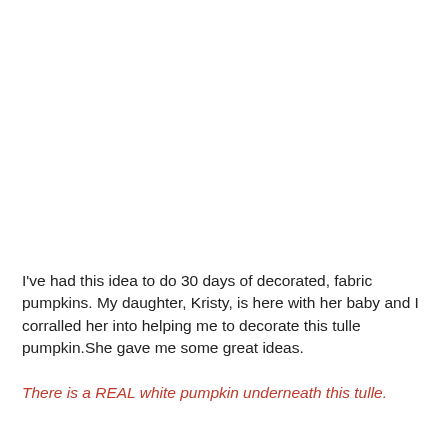I've had this idea to do 30 days of decorated, fabric pumpkins. My daughter, Kristy, is here with her baby and I corralled her into helping me to decorate this tulle pumpkin.She gave me some great ideas.
There is a REAL white pumpkin underneath this tulle.